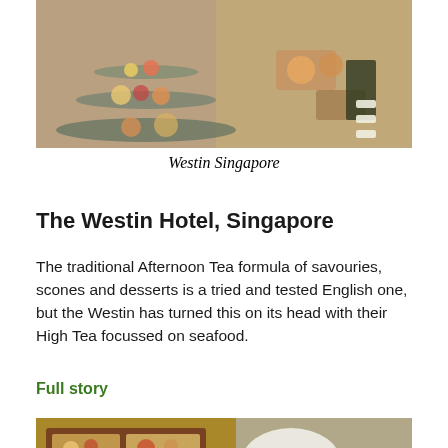[Figure (photo): Afternoon tea spread with multi-tier stand displaying savouries, seafood, fruits and small bites on decorative plates, photographed from above]
Westin Singapore
The Westin Hotel, Singapore
The traditional Afternoon Tea formula of savouries, scones and desserts is a tried and tested English one, but the Westin has turned this on its head with their High Tea focussed on seafood.
Full story
[Figure (photo): Japanese-style bento box with small desserts, chocolates, and tea portions alongside white plates with scones and condiments]